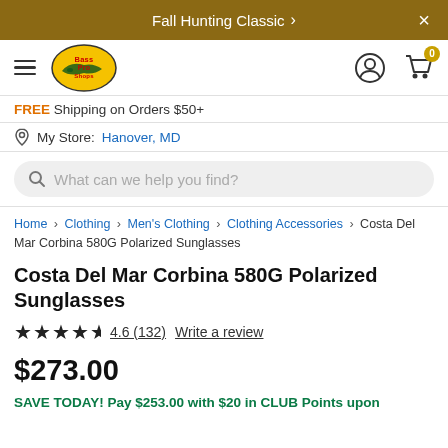Fall Hunting Classic ›   ×
[Figure (logo): Bass Pro Shops oval logo with hamburger menu icon on left; user icon and cart icon with 0 badge on right]
FREE Shipping on Orders $50+
My Store: Hanover, MD
What can we help you find?
Home › Clothing › Men's Clothing › Clothing Accessories › Costa Del Mar Corbina 580G Polarized Sunglasses
Costa Del Mar Corbina 580G Polarized Sunglasses
★★★★½  4.6 (132)   Write a review
$273.00
SAVE TODAY! Pay $253.00 with $20 in CLUB Points upon